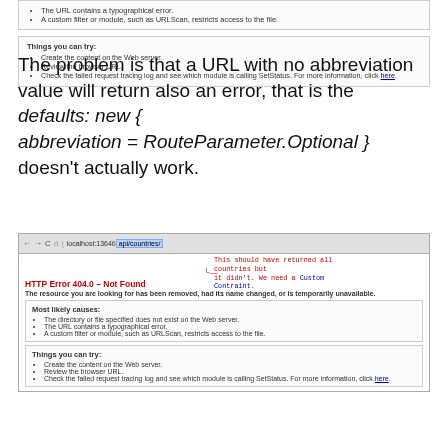The URL contains a typographical error.
A custom filter or module, such as URLScan, restricts access to the file.
Things you can try:
Create the content on the Web server.
Review the browser URL.
Check the failed request tracing log and see which module is calling SetStatus. For more information, click here.
The problem is that a URL with no abbreviation value will return also an error, that is the defaults: new { abbreviation = RouteParameter.Optional } doesn't actually work.
[Figure (screenshot): Browser screenshot showing localhost:13646/api/countries/ URL with HTTP Error 404.0 - Not Found, annotated with red text 'This should have returned all countries but it didn't. We need a Custom Constraint.']
Things you can try:
Create the content on the Web server.
Review the browser URL.
Check the failed request tracing log and see which module is calling SetStatus. For more information, click here.